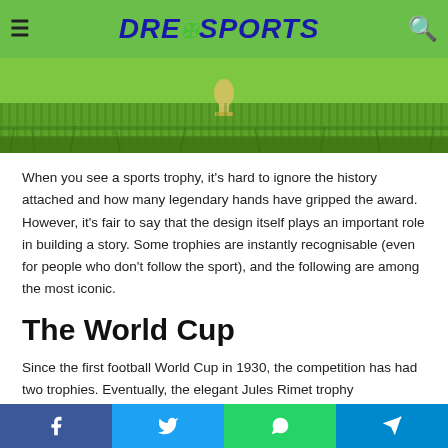DreiSports
[Figure (photo): Close-up photo of a sports trophy on green grass, extreme low angle view showing grass blades and a trophy base]
When you see a sports trophy, it's hard to ignore the history attached and how many legendary hands have gripped the award. However, it's fair to say that the design itself plays an important role in building a story. Some trophies are instantly recognisable (even for people who don't follow the sport), and the following are among the most iconic.
The World Cup
Since the first football World Cup in 1930, the competition has had two trophies. Eventually, the elegant Jules Rimet trophy